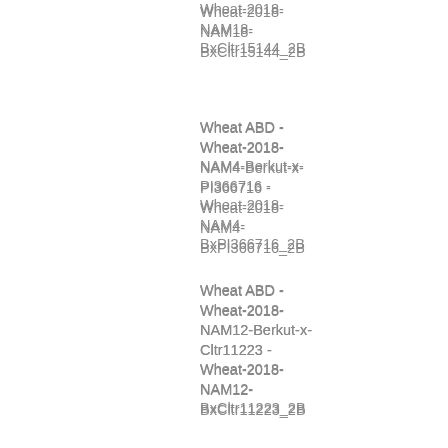Wheat ABD - Wheat-2018-NAM18-BxCltr15144_2B
Wheat ABD - Wheat-2018-NAM4-Berkut-x-PI366716 - Wheat-2018-NAM4-BxPI366716_2B
Wheat ABD - Wheat-2018-NAM12-Berkut-x-Cltr11223 - Wheat-2018-NAM12-BxCltr11223_2B
Wheat ABD - Wheat-2018-NAM5-Berkut-x-PI382150 - Wheat-2018-NAM5-BxPI382150_2B
Wheat ABD - Wheat-2018-NAM11-Berkut-x-Cltr4175 - Wheat-